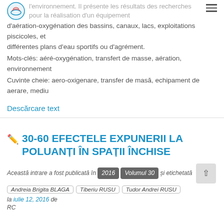l'environnement. Il présente les résultats des recherches pour la réalisation d'un équipement
d'aération-oxygénation des bassins, canaux, lacs, exploitations piscicoles, et différentes plans d'eau sportifs ou d'agrément.
Mots-clés: aéré-oxygénation, transfert de masse, aération, environnement
Cuvinte cheie: aero-oxigenare, transfer de masă, echipament de aerare, mediu
Descărcare text
30-60 EFECTELE EXPUNERII LA POLUANȚI ÎN SPAȚII ÎNCHISE
Această intrare a fost publicată în 2016 Volumul 30 și etichetată Andreia Brigita BLAGA Tiberiu RUSU Tudor Andrei RUSU la iulie 12, 2016 de RC